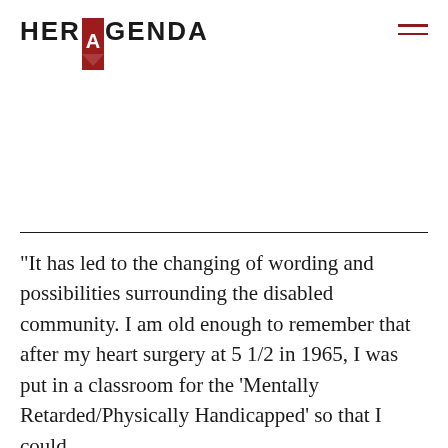[Figure (logo): Her Agenda logo: text 'HER' followed by a red bookmark/ribbon shape with white letter A, then text 'GENDA', plus a hamburger menu icon (three red lines) on the right]
“It has led to the changing of wording and possibilities surrounding the disabled community. I am old enough to remember that after my heart surgery at 5 1/2 in 1965, I was put in a classroom for the ‘Mentally Retarded/Physically Handicapped’ so that I could